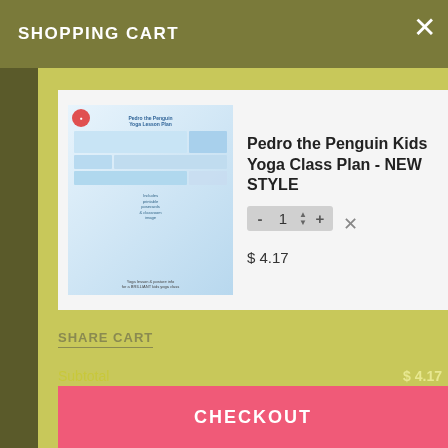SHOPPING CART
[Figure (illustration): Product thumbnail for Pedro the Penguin Kids Yoga Class Plan showing a yoga lesson plan document with penguin illustrations and yoga poses on a light blue background]
Pedro the Penguin Kids Yoga Class Plan - NEW STYLE
$ 4.17
SHARE CART
Subtotal $ 4.17
Total $ 4.17
CHECKOUT